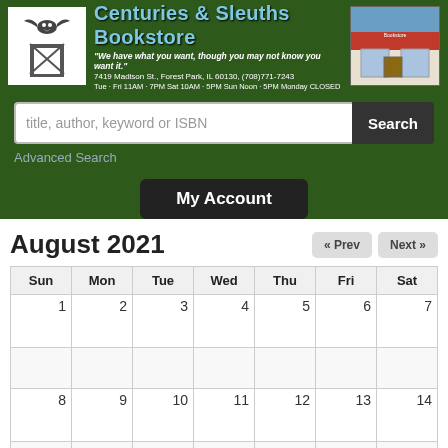Centuries & Sleuths Bookstore — "We have what you want, though you may not know you want it." 7419 Madison St., Forest Park, IL 60130, (708)771-7243 Tue - Fri 11AM - 7PM  Sat 10AM - 5PM  Sun Noon - 5PM Monday CLOSED
title, author, keyword or ISBN
Search
Advanced Search
My Account
August 2021
| Sun | Mon | Tue | Wed | Thu | Fri | Sat |
| --- | --- | --- | --- | --- | --- | --- |
| 1 | 2 | 3 | 4 | 5 | 6 | 7 |
|  |  |  |  |  |  |  |
| 8 | 9 | 10 | 11 | 12 | 13 | 14 |
|  |  |  |  |  |  |  |
| 15 | 16 | 17 | 18 | 19 | 20 | 21 |